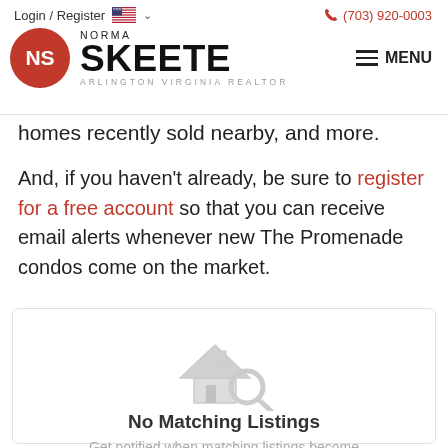Login / Register  (703) 920-0003  NORMA SKEETE ARLINGTON VIRGINIA REALTOR  MENU
homes recently sold nearby, and more.
And, if you haven't already, be sure to register for a free account so that you can receive email alerts whenever new The Promenade condos come on the market.
[Figure (illustration): House with magnifying glass icon indicating no search results found]
No Matching Listings
Get notified when matching listings become